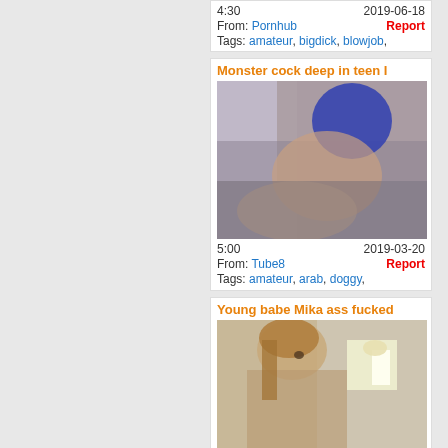4:30   2019-06-18
From: Pornhub   Report
Tags: amateur, bigdick, blowjob,
Monster cock deep in teen I
[Figure (photo): Video thumbnail showing sexual content]
5:00   2019-03-20
From: Tube8   Report
Tags: amateur, arab, doggy,
Young babe Mika ass fucked
[Figure (photo): Video thumbnail showing sexual content]
17:11   2019-09-30
From: YouPorn   Report